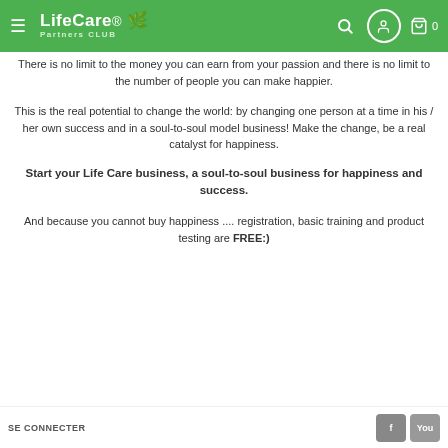LifeCare Partners CLUB
There is no limit to the money you can earn from your passion and there is no limit to the number of people you can make happier.
This is the real potential to change the world: by changing one person at a time in his / her own success and in a soul-to-soul model business! Make the change, be a real catalyst for happiness.
Start your Life Care business, a soul-to-soul business for happiness and success.
And because you cannot buy happiness .... registration, basic training and product testing are FREE:)
SE CONNECTER